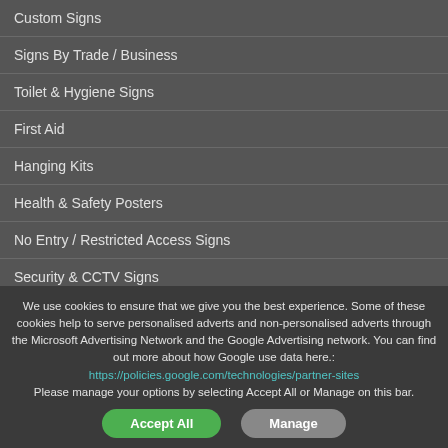Custom Signs
Signs By Trade / Business
Toilet & Hygiene Signs
First Aid
Hanging Kits
Health & Safety Posters
No Entry / Restricted Access Signs
Security & CCTV Signs
Warning / Hazard Signs
No Smoking / Smoking Sign
We use cookies to ensure that we give you the best experience. Some of these cookies help to serve personalised adverts and non-personalised adverts through the Microsoft Advertising Network and the Google Advertising network. You can find out more about how Google use data here.: https://policies.google.com/technologies/partner-sites Please manage your options by selecting Accept All or Manage on this bar.